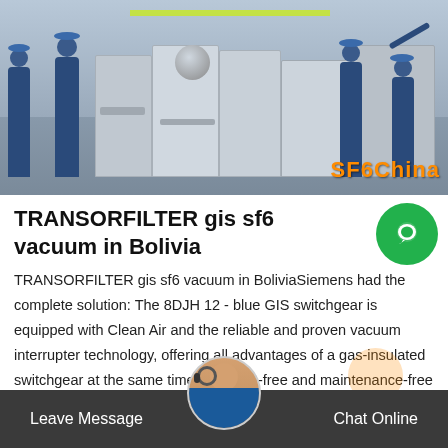[Figure (photo): Workers in blue uniforms and hard hats inspecting large industrial electrical switchgear equipment outdoors. Watermark reads 'SF6China' in orange.]
TRANSORFILTER gis sf6 vacuum in Bolivia
TRANSORFILTER gis sf6 vacuum in BoliviaSiemens had the complete solution: The 8DJH 12 - blue GIS switchgear is equipped with Clean Air and the reliable and proven vacuum interrupter technology, offering all advantages of a gas-insulated switchgear at the same time. The SF6-free and maintenance-free switchgear offers lower operating costs combined with a high degree...
Leave Message | Chat Online